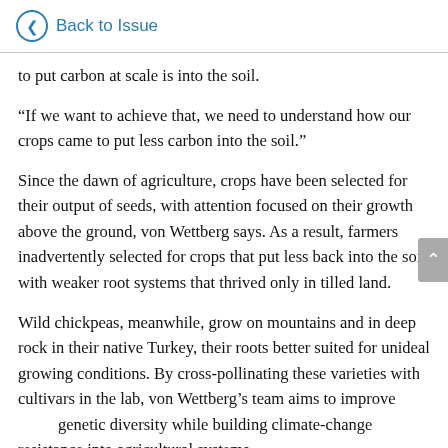Back to Issue
to put carbon at scale is into the soil.
“If we want to achieve that, we need to understand how our crops came to put less carbon into the soil.”
Since the dawn of agriculture, crops have been selected for their output of seeds, with attention focused on their growth above the ground, von Wettberg says. As a result, farmers inadvertently selected for crops that put less back into the soil, with weaker root systems that thrived only in tilled land.
Wild chickpeas, meanwhile, grow on mountains and in deep rock in their native Turkey, their roots better suited for unideal growing conditions. By cross-pollinating these varieties with cultivars in the lab, von Wettberg’s team aims to improve genetic diversity while building climate-change resistance into agricultural systems.
“Da Vinci famously said that we know more about the celestial